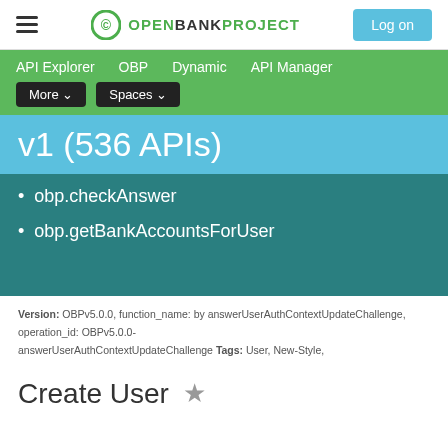OPENBANKPROJECT — Log on
API Explorer   OBP   Dynamic   API Manager   More ▾   Spaces ▾
v1 (536 APIs)
obp.checkAnswer
obp.getBankAccountsForUser
Version: OBPv5.0.0, function_name: by answerUserAuthContextUpdateChallenge, operation_id: OBPv5.0.0-answerUserAuthContextUpdateChallenge Tags: User, New-Style,
Create User ★